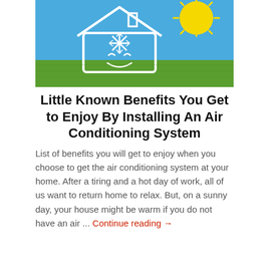[Figure (illustration): Illustration of a smiling cartoon house with a snowflake symbol on it, set against a blue sky with a yellow sun and green grass in the foreground.]
Little Known Benefits You Get to Enjoy By Installing An Air Conditioning System
List of benefits you will get to enjoy when you choose to get the air conditioning system at your home. After a tiring and a hot day of work, all of us want to return home to relax. But, on a sunny day, your house might be warm if you do not have an air ... Continue reading →